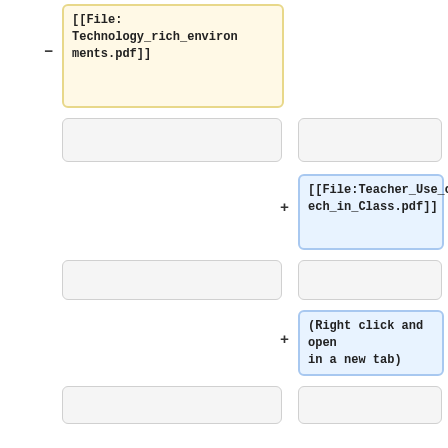[[File:Technology_rich_environments.pdf]]
[[File:Teacher_Use_of_Tech_in_Class.pdf]]
(Right click and open in a new tab)
[[File:Technology_rich_environments.pdf]]